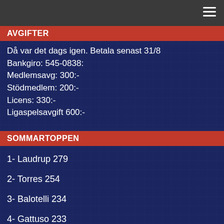AVGIFTER
Då var det dags igen. Betala senast 31/8
Bankgiro: 545-0838:
Medlemsavg: 300:-
Stödmedlem: 200:-
Licens: 330:-
Ligaspelsavgift 600:-
SOMMARTOPPEN
1- Laudrup 279
2- Torres 254
3- Balotelli 234
4- Gattuso 233